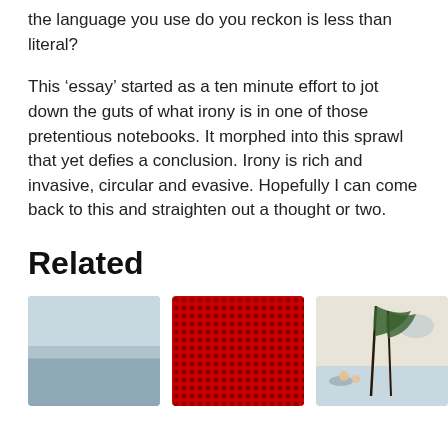the language you use do you reckon is less than literal?
This ‘essay’ started as a ten minute effort to jot down the guts of what irony is in one of those pretentious notebooks. It morphed into this sprawl that yet defies a conclusion. Irony is rich and invasive, circular and evasive. Hopefully I can come back to this and straighten out a thought or two.
Related
[Figure (photo): A grey seascape/ocean horizon photo]
[Figure (photo): A red halftone dot pattern image]
[Figure (illustration): A Japanese woodblock print showing bent trees and figures in wind]